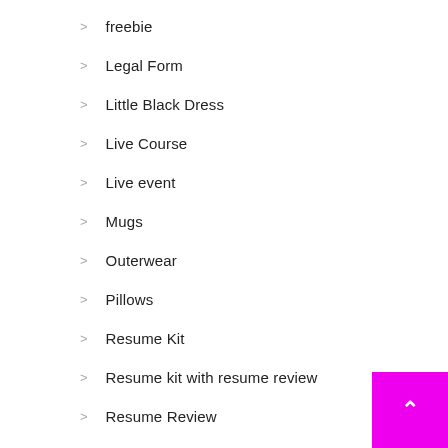freebie
Legal Form
Little Black Dress
Live Course
Live event
Mugs
Outerwear
Pillows
Resume Kit
Resume kit with resume review
Resume Review
Resume with Biz Card